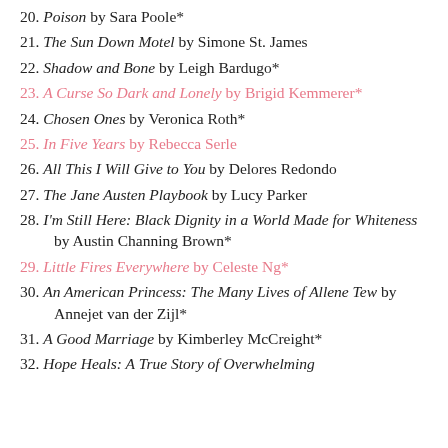20. Poison by Sara Poole*
21. The Sun Down Motel by Simone St. James
22. Shadow and Bone by Leigh Bardugo*
23. A Curse So Dark and Lonely by Brigid Kemmerer*
24. Chosen Ones by Veronica Roth*
25. In Five Years by Rebecca Serle
26. All This I Will Give to You by Delores Redondo
27. The Jane Austen Playbook by Lucy Parker
28. I'm Still Here: Black Dignity in a World Made for Whiteness by Austin Channing Brown*
29. Little Fires Everywhere by Celeste Ng*
30. An American Princess: The Many Lives of Allene Tew by Annejet van der Zijl*
31. A Good Marriage by Kimberley McCreight*
32. Hope Heals: A True Story of Overwhelming